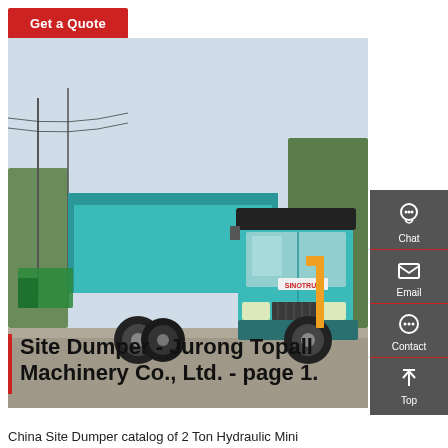Get a Quote
[Figure (photo): A teal/cyan colored Sinotruk HOWO dump truck photographed in a parking/road area with trees and utility poles in the background. The truck is large, 6-wheel drive, with a raised dump bed.]
Site Dumper - Jurong Topall Machinery Co., Ltd. - page 1.
China Site Dumper catalog of 2 Ton Hydraulic Mini